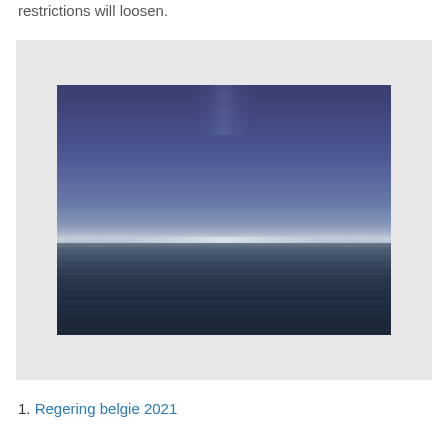restrictions will loosen.
[Figure (photo): Abstract seascape photograph showing a calm ocean horizon with deep blue sky above and dark water below, with a subtle glow near the horizon line.]
1. Regering belgie 2021